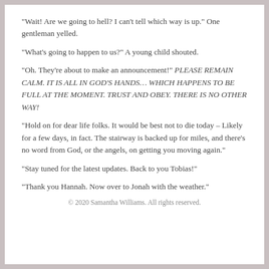“Wait! Are we going to hell? I can’t tell which way is up.” One gentleman yelled.
“What’s going to happen to us?” A young child shouted.
“Oh. They’re about to make an announcement!” PLEASE REMAIN CALM. IT IS ALL IN GOD’S HANDS… WHICH HAPPENS TO BE FULL AT THE MOMENT. TRUST AND OBEY. THERE IS NO OTHER WAY!
“Hold on for dear life folks. It would be best not to die today – Likely for a few days, in fact. The stairway is backed up for miles, and there’s no word from God, or the angels, on getting you moving again.”
“Stay tuned for the latest updates. Back to you Tobias!”
“Thank you Hannah. Now over to Jonah with the weather.”
© 2020 Samantha Williams. All rights reserved.